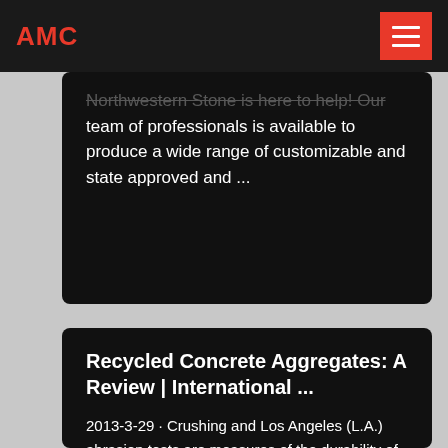AMC
Northwestern Stone is here to help! Our team of professionals is available to produce a wide range of customizable and state approved and ...
Recycled Concrete Aggregates: A Review | International ...
2013-3-29 · Crushing and Los Angeles (L.A.) abrasion tests are measures of the durability of aggregate material on its own. There is a general trend that RCA has higher values for crushing and L.A. abrasion than NA, meaning when the aggregate is contained and crushed or impacted by steel balls in the L.A.